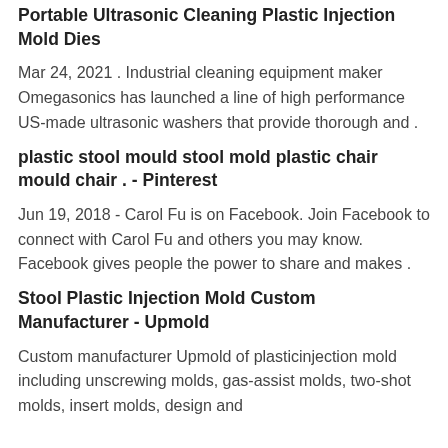Portable Ultrasonic Cleaning Plastic Injection Mold Dies
Mar 24, 2021 . Industrial cleaning equipment maker Omegasonics has launched a line of high performance US-made ultrasonic washers that provide thorough and .
plastic stool mould stool mold plastic chair mould chair . - Pinterest
Jun 19, 2018 - Carol Fu is on Facebook. Join Facebook to connect with Carol Fu and others you may know. Facebook gives people the power to share and makes .
Stool Plastic Injection Mold Custom Manufacturer - Upmold
Custom manufacturer Upmold of plasticinjection mold including unscrewing molds, gas-assist molds, two-shot molds, insert molds, design and